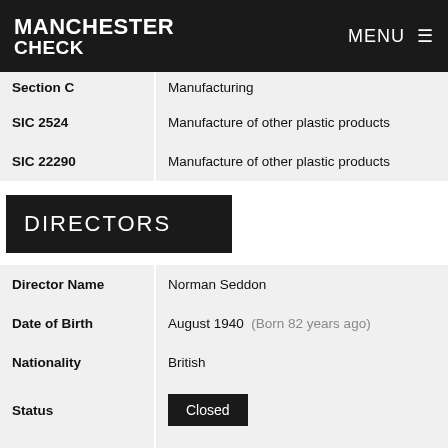MANCHESTER CHECK  MENU
| Section C | Manufacturing |
| SIC 2524 | Manufacture of other plastic products |
| SIC 22290 | Manufacture of other plastic products |
DIRECTORS
| Director Name | Norman Seddon |
| Date of Birth | August 1940  (Born 82 years ago) |
| Nationality | British |
| Status | Closed |